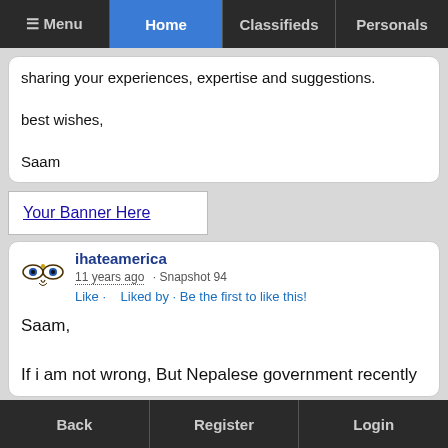≡ Menu | Home | Classifieds | Personals
sharing your experiences, expertise and suggestions.

best wishes,

Saam
Your Banner Here
ihateamerica
11 years ago · Snapshot 94
Like · Liked by · Be the first to like this!

Saam,

If i am not wrong, But Nepalese government recently
Back | Register | Login